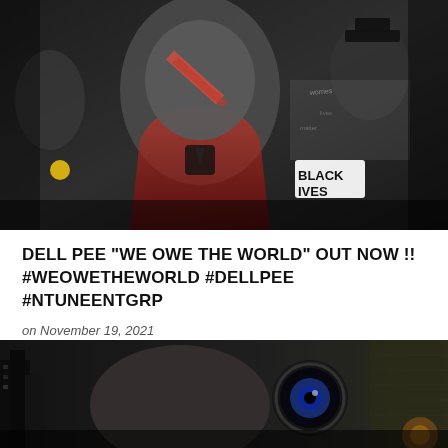[Figure (photo): Artistic collage photo with a Black man in the foreground wearing a red hoodie, Black Lives Matter imagery, and historical figures in the background, rendered in grayscale with red and yellow accents]
DELL PEE "WE OWE THE WORLD" OUT NOW !! #WEOWETHEWORLD #DELLPEE #NTUNEENTGRP
on November 19, 2021
[Figure (photo): Artistic composite photo showing a man's face overlaid with a large mechanical or alien eye, set against urban building backdrop with dollar bill textures]